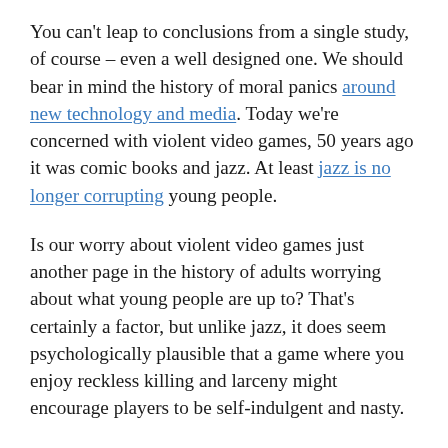You can't leap to conclusions from a single study, of course – even a well designed one. We should bear in mind the history of moral panics around new technology and media. Today we're concerned with violent video games, 50 years ago it was comic books and jazz. At least jazz is no longer corrupting young people.
Is our worry about violent video games just another page in the history of adults worrying about what young people are up to? That's certainly a factor, but unlike jazz, it does seem psychologically plausible that a game where you enjoy reckless killing and larceny might encourage players to be self-indulgent and nasty.